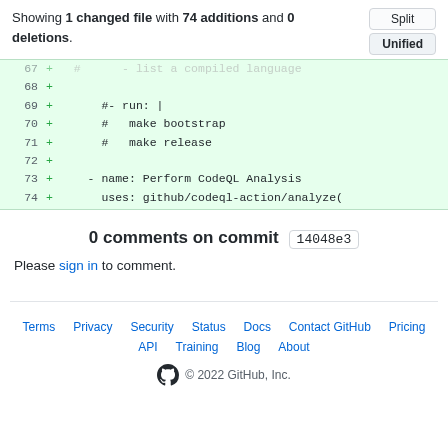Showing 1 changed file with 74 additions and 0 deletions.
[Figure (screenshot): Code diff block showing lines 67-74 with green added lines including comments about run, make bootstrap, make release, and CodeQL analysis steps]
0 comments on commit 14048e3
Please sign in to comment.
Terms  Privacy  Security  Status  Docs  Contact GitHub  Pricing  API  Training  Blog  About  © 2022 GitHub, Inc.